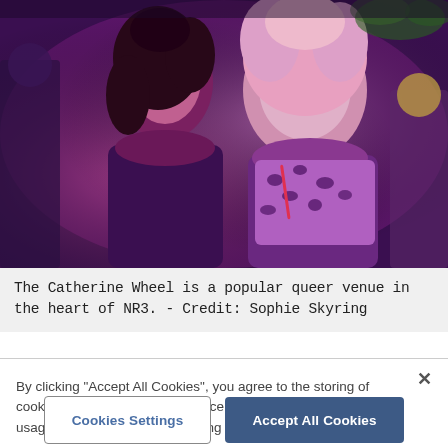[Figure (photo): Two people posed together under pink/purple lighting at what appears to be a bar or club venue. One person has long dark curly hair and the other has large pink/blonde hair and is wearing a leopard-print outfit. They are at The Catherine Wheel, a queer venue in NR3.]
The Catherine Wheel is a popular queer venue in the heart of NR3. - Credit: Sophie Skyring
By clicking "Accept All Cookies", you agree to the storing of cookies on your device to enhance site navigation, analyze site usage, and assist in our marketing efforts.
Cookies Settings
Accept All Cookies